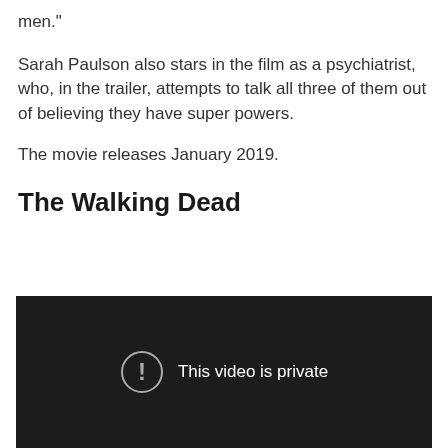men."
Sarah Paulson also stars in the film as a psychiatrist, who, in the trailer, attempts to talk all three of them out of believing they have super powers.
The movie releases January 2019.
The Walking Dead
[Figure (screenshot): Dark video player with 'This video is private' message and an exclamation mark icon]